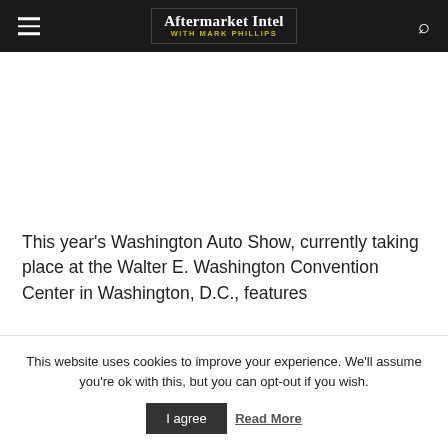Aftermarket Intel WITH MARK PHILLIPS
This year's Washington Auto Show, currently taking place at the Walter E. Washington Convention Center in Washington, D.C., features
This website uses cookies to improve your experience. We'll assume you're ok with this, but you can opt-out if you wish.
I agree  Read More